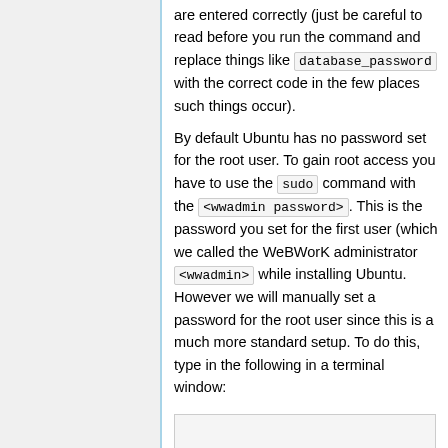are entered correctly (just be careful to read before you run the command and replace things like database_password with the correct code in the few places such things occur).
By default Ubuntu has no password set for the root user. To gain root access you have to use the sudo command with the <wwadmin password>. This is the password you set for the first user (which we called the WeBWorK administrator <wwadmin> while installing Ubuntu. However we will manually set a password for the root user since this is a much more standard setup. To do this, type in the following in a terminal window:
[Figure (other): Code block area at bottom of page]